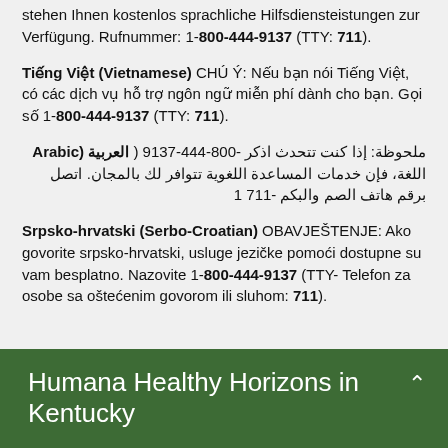stehen Ihnen kostenlos sprachliche Hilfsdiensteistungen zur Verfügung. Rufnummer: 1-800-444-9137 (TTY: 711).
Tiếng Việt (Vietnamese) CHÚ Ý: Nếu bạn nói Tiếng Việt, có các dịch vụ hỗ trợ ngôn ngữ miễn phí dành cho bạn. Gọi số 1-800-444-9137 (TTY: 711).
ملحوظة: إذا كنت تتحدث اذكر -800-444-9137 ( العربية (Arabic اللغة، فإن خدمات المساعدة اللغوية تتوافر لك بالمجان. اتصل برقم هاتف الصم والبكم 711 1
Srpsko-hrvatski (Serbo-Croatian) OBAVJEŠTENJE: Ako govorite srpsko-hrvatski, usluge jezičke pomoći dostupne su vam besplatno. Nazovite 1-800-444-9137 (TTY- Telefon za osobe sa oštećenim govorom ili sluhom: 711).
Humana Healthy Horizons in Kentucky